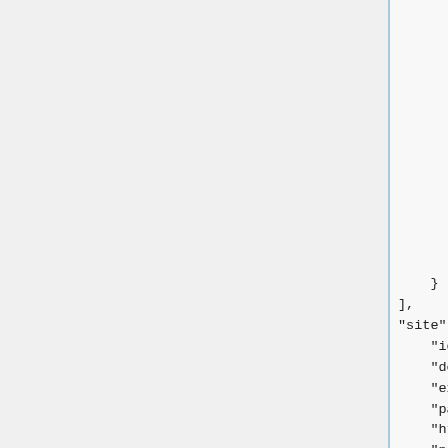2,
3,
5,
6
],
"w": 640,
"h": 360,
"startdelay": 0
}
"instl": 0
}
],
"site": {
"id": "5",
"domain":
"example.com,",
"page":
"https://example.com,/ru/",
"name": "exmpl-5",